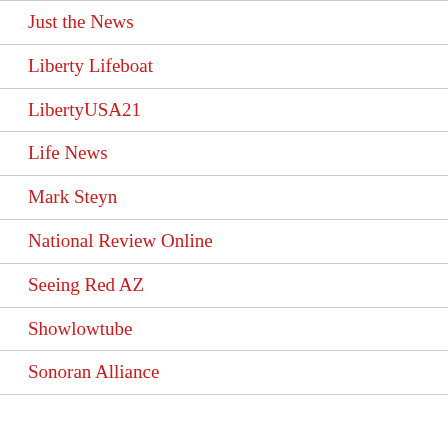Just the News
Liberty Lifeboat
LibertyUSA21
Life News
Mark Steyn
National Review Online
Seeing Red AZ
Showlowtube
Sonoran Alliance